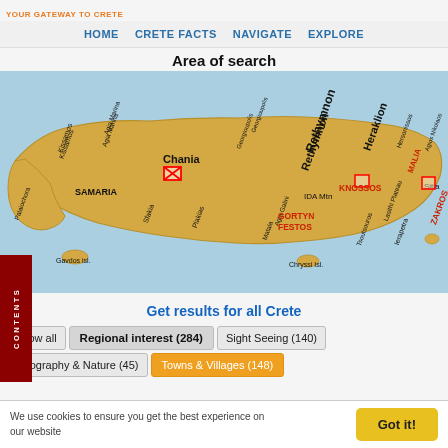YOUR GATEWAY TO CRETE
HOME   CRETE FACTS   NAVIGATE   EXPLORE
Area of search
[Figure (map): Map of Crete showing regions and landmarks: Kissamos, Agia Marina, Chania, Georgioupolis, Rethymnon, Heraklion, Hersonissos, Malia, Agios Nikolaos, Palaiochora, Samaria, Sfakia, Plakias, Agia Galini, IDA Mtn, Knossos, Gortyn Festos, Lasithi Plateau, Tsoutsouros, Zakros, Sitia, Ierapetra, Matala, Gavdos isl., Chryssi Isl. Several locations marked with red boxes.]
Get results for all Crete
Show all
Regional interest (284)
Sight Seeing (140)
Geography & Nature (45)
Towns & Villages (148)
We use cookies to ensure you get the best experience on our website
Got it!